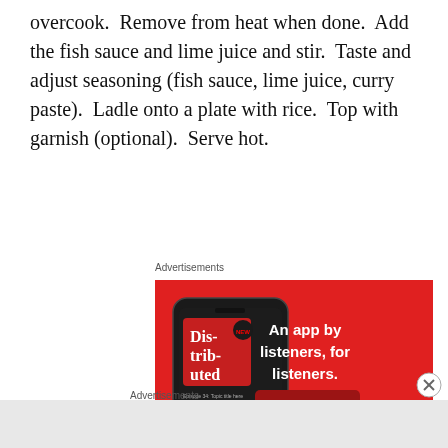overcook.  Remove from heat when done.  Add the fish sauce and lime juice and stir.  Taste and adjust seasoning (fish sauce, lime juice, curry paste).  Ladle onto a plate with rice.  Top with garnish (optional).  Serve hot.
Advertisements
[Figure (photo): Pocket Casts app advertisement on red background. Shows a smartphone with the app open displaying 'Distributed' podcast. Text reads: 'An app by listeners, for listeners.' with a 'Download now' button. Pocket Casts logo at bottom right.]
Advertisements